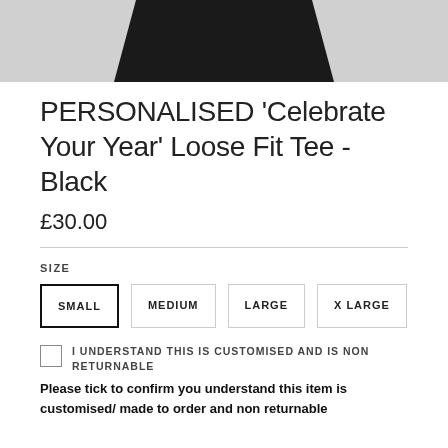[Figure (photo): Top portion of a black loose fit t-shirt product photo against a light grey background]
PERSONALISED 'Celebrate Your Year' Loose Fit Tee - Black
£30.00
SIZE
SMALL | MEDIUM | LARGE | X LARGE
I UNDERSTAND THIS IS CUSTOMISED AND IS NON RETURNABLE
Please tick to confirm you understand this item is customised/ made to order and non returnable